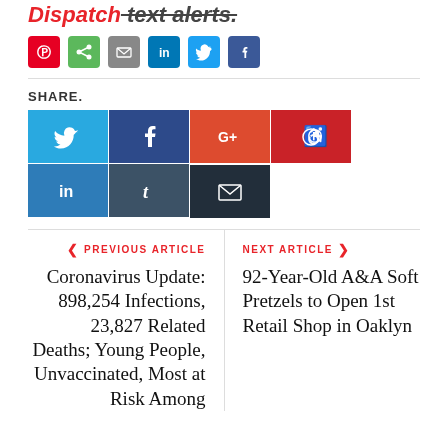Dispatch text alerts.
[Figure (infographic): Row of small social media share icons: Pinterest (red), Share (green), Email (grey), LinkedIn (blue), Twitter (light blue), Facebook (dark blue)]
SHARE.
[Figure (infographic): Large social media share buttons: Twitter, Facebook, Google+, Pinterest, LinkedIn, Tumblr (row 1); Email (row 2)]
PREVIOUS ARTICLE
Coronavirus Update: 898,254 Infections, 23,827 Related Deaths; Young People, Unvaccinated, Most at Risk Among
NEXT ARTICLE
92-Year-Old A&A Soft Pretzels to Open 1st Retail Shop in Oaklyn